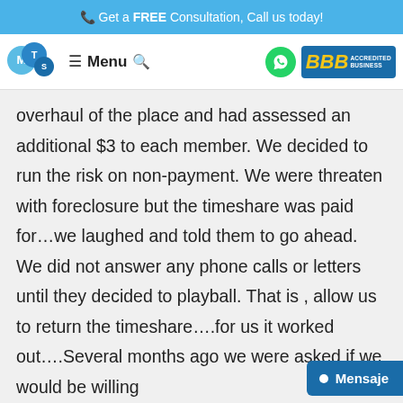📞 Get a FREE Consultation, Call us today!
[Figure (logo): MTS logo with overlapping circles and Menu navigation bar with WhatsApp icon and BBB Accredited Business badge]
overhaul of the place and had assessed an additional $3 to each member. We decided to run the risk on non-payment. We were threaten with foreclosure but the timeshare was paid for…we laughed and told them to go ahead. We did not answer any phone calls or letters until they decided to playball. That is , allow us to return the timeshare….for us it worked out….Several months ago we were asked if we would be willing